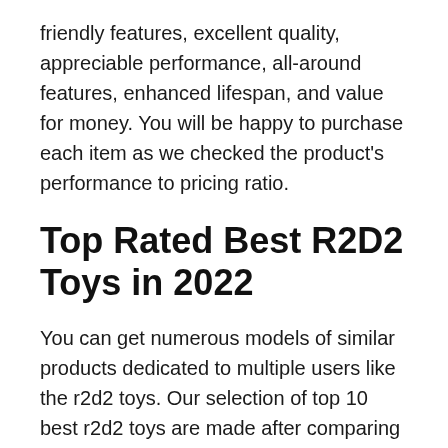friendly features, excellent quality, appreciable performance, all-around features, enhanced lifespan, and value for money. You will be happy to purchase each item as we checked the product's performance to pricing ratio.
Top Rated Best R2D2 Toys in 2022
You can get numerous models of similar products dedicated to multiple users like the r2d2 toys. Our selection of top 10 best r2d2 toys are made after comparing 20+ products to match user requirements. These products are superbly performing, practical, and sturdy for individual